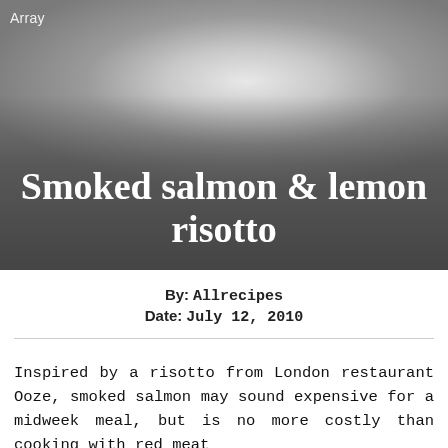[Figure (photo): Photo of a risotto dish served on a white plate, with a dark semi-transparent overlay at the bottom containing the recipe title.]
Array
Smoked salmon & lemon risotto
By:  Allrecipes
Date:  July 12, 2010
Inspired by a risotto from London restaurant Ooze, smoked salmon may sound expensive for a midweek meal, but is no more costly than cooking with red meat
Ingredients